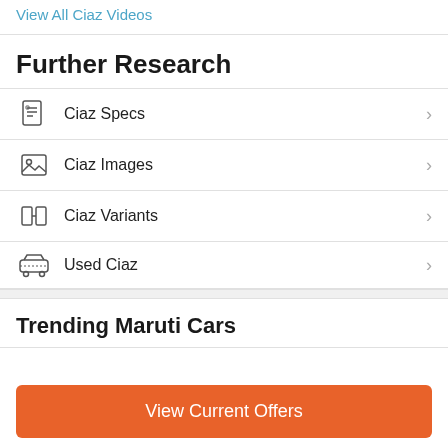View All Ciaz Videos
Further Research
Ciaz Specs
Ciaz Images
Ciaz Variants
Used Ciaz
Trending Maruti Cars
View Current Offers